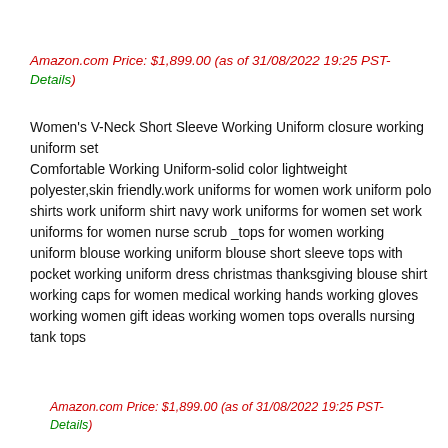Amazon.com Price: $1,899.00 (as of 31/08/2022 19:25 PST- Details)
Women's V-Neck Short Sleeve Working Uniform closure working uniform set Comfortable Working Uniform-solid color lightweight polyester,skin friendly.work uniforms for women work uniform polo shirts work uniform shirt navy work uniforms for women set work uniforms for women nurse scrub _tops for women working uniform blouse working uniform blouse short sleeve tops with pocket working uniform dress christmas thanksgiving blouse shirt working caps for women medical working hands working gloves working women gift ideas working women tops overalls nursing tank tops
Amazon.com Price: $1,899.00 (as of 31/08/2022 19:25 PST- Details)